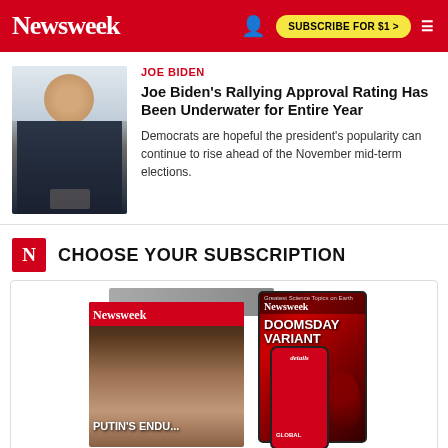Newsweek — SUBSCRIBE FOR $1 >
[Figure (photo): Photo of Joe Biden in a dark suit, gesturing, with a blurred background]
JOE BIDEN
Joe Biden's Rallying Approval Rating Has Been Underwater for Entire Year
Democrats are hopeful the president's popularity can continue to rise ahead of the November mid-term elections.
N CHOOSE YOUR SUBSCRIPTION
[Figure (illustration): Newsweek subscription product mockup showing print magazine with Putin's Endgame cover, a tablet with Doomsday Variant cover, and a smartphone with the Newsweek app]